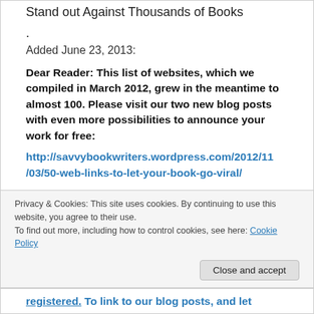Stand out Against Thousands of Books
.
Added June 23, 2013:
Dear Reader:  This list of websites, which we compiled in March 2012, grew in the meantime to almost 100.  Please visit our two new blog posts with even more possibilities to announce your work for free:
http://savvybookwriters.wordpress.com/2012/11/03/50-web-links-to-let-your-book-go-viral/
Privacy & Cookies: This site uses cookies. By continuing to use this website, you agree to their use.
To find out more, including how to control cookies, see here: Cookie Policy
Close and accept
registered.  To link to our blog posts, and let